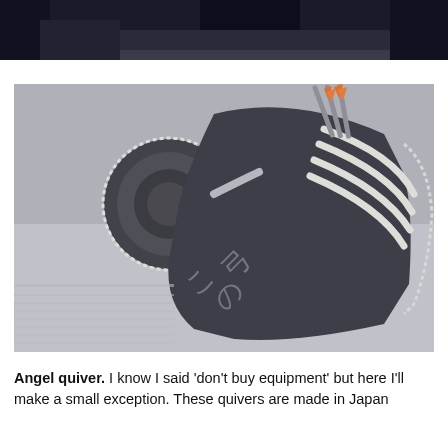[Figure (photo): Partial view of a dark-colored object at the top of the page, cropped — appears to be the bottom edge of a previous photo]
[Figure (photo): Close-up photograph of an Angel quiver (archery equipment), dark/black with silver/white serrated edges and white stripe details, arrows with orange fletching visible, Japanese text visible on the surface, shot from an angled perspective on a gray surface]
Angel quiver. I know I said 'don't buy equipment' but here I'll make a small exception. These quivers are made in Japan